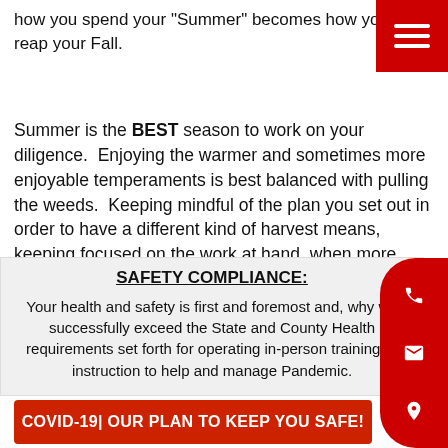how you spend your "Summer" becomes how you reap your Fall.
Summer is the BEST season to work on your diligence.  Enjoying the warmer and sometimes more enjoyable temperaments is best balanced with pulling the weeds.  Keeping mindful of the plan you set out in order to have a different kind of harvest means, keeping focused on the work at hand, when more distractions seems to present themselves.  As you near higher levels of success, there
SAFETY COMPLIANCE:
Your health and safety is first and foremost and, why we successfully exceed the State and County Health requirements set forth for operating in-person training or instruction to help and manage Pandemic.
COVID-19| OUR PLAN TO KEEP YOU SAFE!